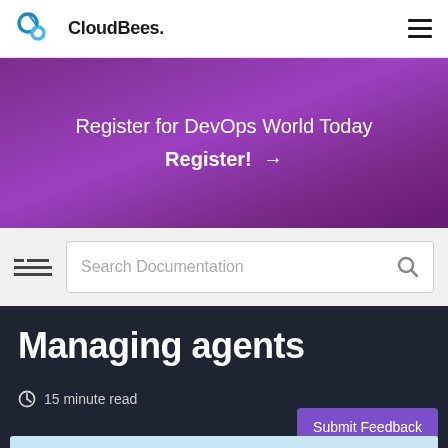CloudBees.
[Figure (screenshot): Purple promotional banner with text 'Register for DevOps World Today' and 'Register! →']
Register for DevOps World Today
Register! →
Search Documentation
Managing agents
15 minute read
Submit Feedback